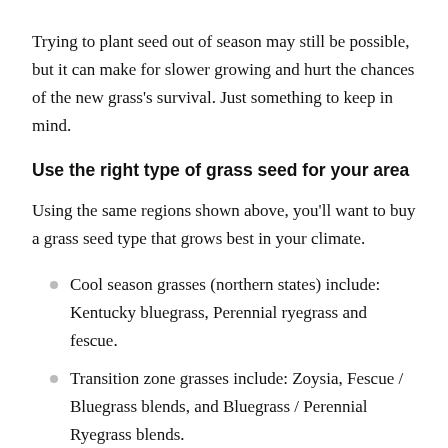Trying to plant seed out of season may still be possible, but it can make for slower growing and hurt the chances of the new grass's survival. Just something to keep in mind.
Use the right type of grass seed for your area
Using the same regions shown above, you'll want to buy a grass seed type that grows best in your climate.
Cool season grasses (northern states) include: Kentucky bluegrass, Perennial ryegrass and fescue.
Transition zone grasses include: Zoysia, Fescue / Bluegrass blends, and Bluegrass / Perennial Ryegrass blends.